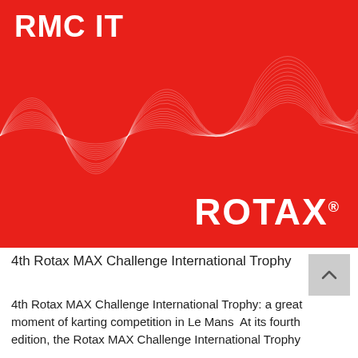RMC IT
[Figure (illustration): Red Rotax branded banner with white abstract wave/sound-wave graphic pattern and ROTAX logo in white at the bottom right]
4th Rotax MAX Challenge International Trophy
4th Rotax MAX Challenge International Trophy: a great moment of karting competition in Le Mans  At its fourth edition, the Rotax MAX Challenge International Trophy